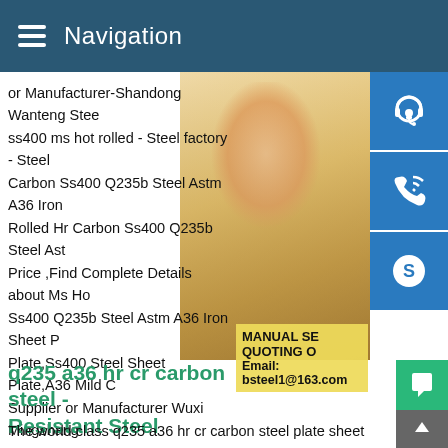Navigation
or Manufacturer-Shandong Wanteng Stee ss400 ms hot rolled - Steel factory - Steel Carbon Ss400 Q235b Steel Astm A36 Iron Rolled Hr Carbon Ss400 Q235b Steel Ast Price ,Find Complete Details about Ms Ho Ss400 Q235b Steel Astm A36 Iron Sheet Plate,Ss400 Steel Sheet Plate,A36 Mild C Supplier or Manufacturer Wuxi Mingshang
[Figure (photo): Woman with headset, customer service representative photo]
[Figure (infographic): Blue icon boxes: customer service headset icon, phone/call icon, Skype icon]
MANUAL SE QUOTING O Email: bsteel1@163.com
q235 a36 hr cr carbon steel - Resistant Steel
The world class q235 a36 hr cr carbon steel plate sheet .Q235 A36 HR CR carbon steel plate sheet.2,Hot rolled Cold rolled steel c thickness4mm 20mm.As the professional Chinese Q235 A36 H CR .made in China from Tianjin Runfei Trade Prime Hot Rolled Steel Sheet.HR/HRS,Q235 steel plate manufacturer on sale th